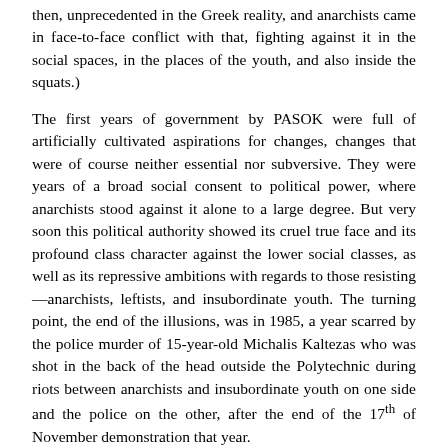then, unprecedented in the Greek reality, and anarchists came in face-to-face conflict with that, fighting against it in the social spaces, in the places of the youth, and also inside the squats.)
The first years of government by PASOK were full of artificially cultivated aspirations for changes, changes that were of course neither essential nor subversive. They were years of a broad social consent to political power, where anarchists stood against it alone to a large degree. But very soon this political authority showed its cruel true face and its profound class character against the lower social classes, as well as its repressive ambitions with regards to those resisting—anarchists, leftists, and insubordinate youth. The turning point, the end of the illusions, was in 1985, a year scarred by the police murder of 15-year-old Michalis Kaltezas who was shot in the back of the head outside the Polytechnic during riots between anarchists and insubordinate youth on one side and the police on the other, after the end of the 17th of November demonstration that year.
This murder triggered a series of insurrectionary events of resistance whose major moments were the occupation of the Chemistry University and the Polytechnic. Moreover, it caused a deeper uprising of consciousness and hostile dispositions against the police and Authority which gave birth to numerous events of